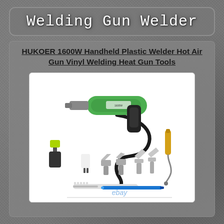Welding Gun Welder
HUKOER 1600W Handheld Plastic Welder Hot Air Gun Vinyl Welding Heat Gun Tools
[Figure (photo): Product photo of HUKOER 1600W handheld plastic welder hot air gun kit including the green heat gun, power cord, roller tool, nozzle attachments, and other accessories, with eBay watermark.]